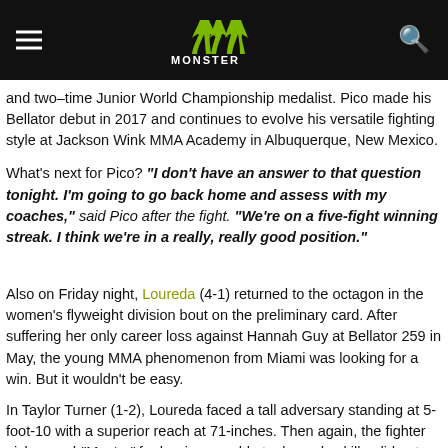Monster Energy
and two–time Junior World Championship medalist. Pico made his Bellator debut in 2017 and continues to evolve his versatile fighting style at Jackson Wink MMA Academy in Albuquerque, New Mexico.
What's next for Pico? "I don't have an answer to that question tonight. I'm going to go back home and assess with my coaches," said Pico after the fight. "We're on a five-fight winning streak. I think we're in a really, really good position."
Also on Friday night, Loureda (4-1) returned to the octagon in the women's flyweight division bout on the preliminary card. After suffering her only career loss against Hannah Guy at Bellator 259 in May, the young MMA phenomenon from Miami was looking for a win. But it wouldn't be easy.
In Taylor Turner (1-2), Loureda faced a tall adversary standing at 5-foot-10 with a superior reach at 71-inches. Then again, the fighter nicknamed "Master" for her impeccable taekwondo skills, did not become an MMA sensation only for her notorious victory dances.